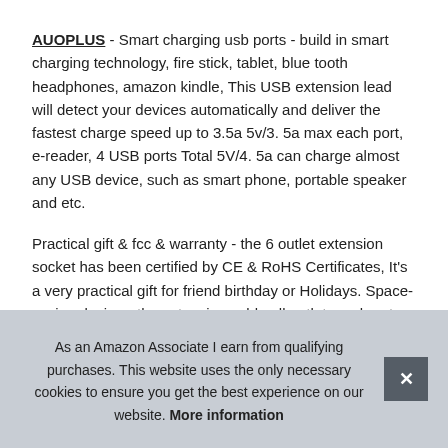AUOPLUS - Smart charging usb ports - build in smart charging technology, fire stick, tablet, blue tooth headphones, amazon kindle, This USB extension lead will detect your devices automatically and deliver the fastest charge speed up to 3.5a 5v/3. 5a max each port, e-reader, 4 USB ports Total 5V/4. 5a can charge almost any USB device, such as smart phone, portable speaker and etc.
Practical gift & fcc & warranty - the 6 outlet extension socket has been certified by CE & RoHS Certificates, It's a very practical gift for friend birthday or Holidays. Space-saving design - the extension cable all outlets and ports are dist... lead... betw... ada... and...
As an Amazon Associate I earn from qualifying purchases. This website uses the only necessary cookies to ensure you get the best experience on our website. More information